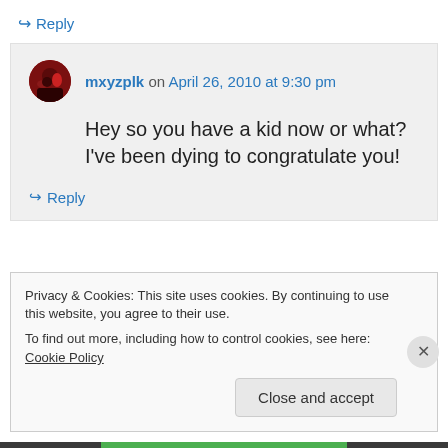↪ Reply
mxyzplk on April 26, 2010 at 9:30 pm
Hey so you have a kid now or what? I've been dying to congratulate you!
↪ Reply
Privacy & Cookies: This site uses cookies. By continuing to use this website, you agree to their use.
To find out more, including how to control cookies, see here: Cookie Policy
Close and accept